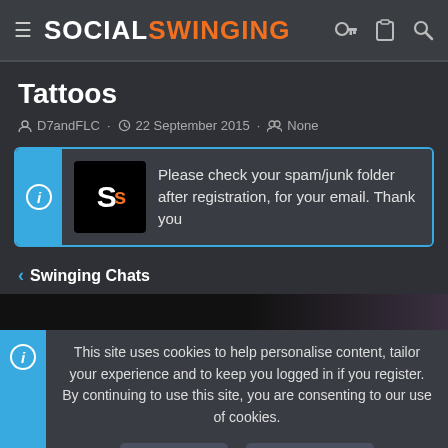≡ SOCIAL SWINGING
Tattoos
D7andFLC · 22 September 2015 · None
Please check your spam/junk folder after registration, for your email. Thank you
< Swinging Chats
This site uses cookies to help personalise content, tailor your experience and to keep you logged in if you register. By continuing to use this site, you are consenting to our use of cookies.
Accept   Learn more...